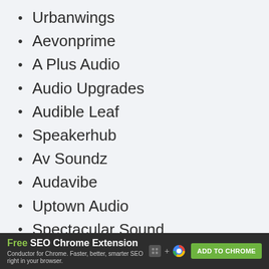Urbanwings
Aevonprime
A Plus Audio
Audio Upgrades
Audible Leaf
Speakerhub
Av Soundz
Audavibe
Uptown Audio
Spectacular Sound
Beat Street Records,
Movemotion Home Systems
[Figure (other): Advertisement banner: Free SEO Chrome Extension - Conductor for Chrome. Faster, better, smarter SEO right in your browser. ADD TO CHROME button.]